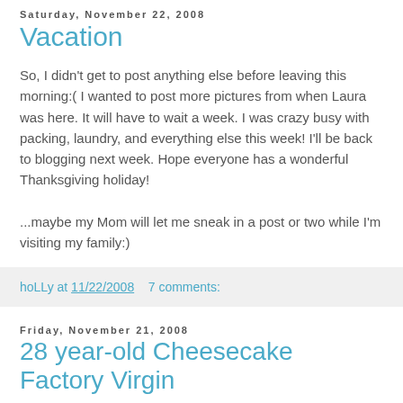Saturday, November 22, 2008
Vacation
So, I didn't get to post anything else before leaving this morning:( I wanted to post more pictures from when Laura was here. It will have to wait a week. I was crazy busy with packing, laundry, and everything else this week! I'll be back to blogging next week. Hope everyone has a wonderful Thanksgiving holiday!
...maybe my Mom will let me sneak in a post or two while I'm visiting my family:)
hoLLy at 11/22/2008   7 comments:
Friday, November 21, 2008
28 year-old Cheesecake Factory Virgin
The first night my bud Laura was here, I took her to The Cheesecake Factory for a late night dessert. She had never